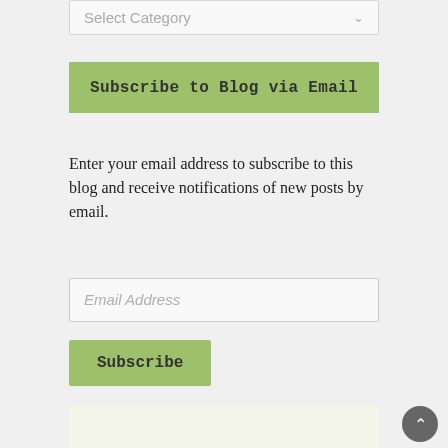Select Category
Subscribe to Blog via Email
Enter your email address to subscribe to this blog and receive notifications of new posts by email.
Email Address
Subscribe
[Figure (illustration): Member of badge with purple circle and text 'Member of' in dark green curved font on a light green background]